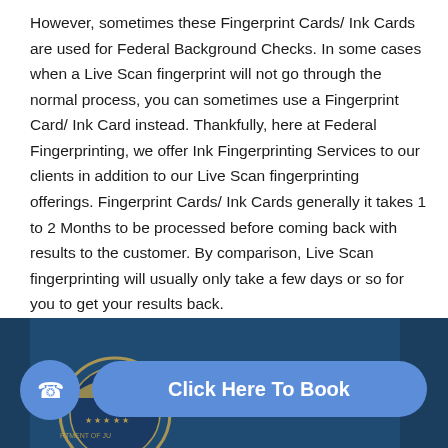However, sometimes these Fingerprint Cards/ Ink Cards are used for Federal Background Checks. In some cases when a Live Scan fingerprint will not go through the normal process, you can sometimes use a Fingerprint Card/ Ink Card instead. Thankfully, here at Federal Fingerprinting, we offer Ink Fingerprinting Services to our clients in addition to our Live Scan fingerprinting offerings. Fingerprint Cards/ Ink Cards generally it takes 1 to 2 Months to be processed before coming back with results to the customer. By comparison, Live Scan fingerprinting will usually only take a few days or so for you to get your results back.
[Figure (photo): Partial view of FBI Department of Justice seal/badge on a dark blue background, with a call-to-action button overlay]